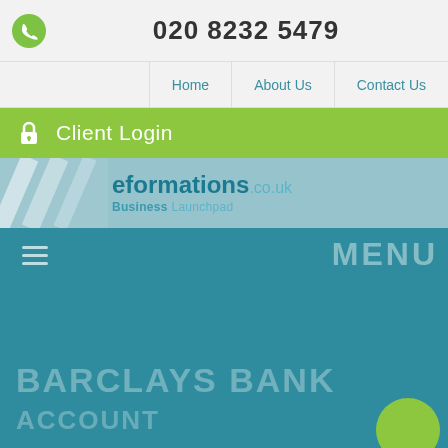020 8232 5479
Home | About Us | Contact Us
Client Login
[Figure (logo): eformations.co.uk Business Launchpad logo with teal diagonal graphic mark]
MENU
BARCLAYS BANK